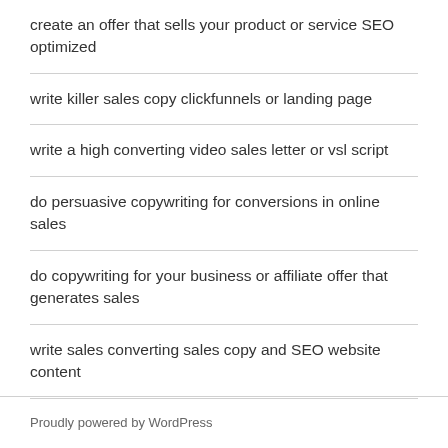create an offer that sells your product or service SEO optimized
write killer sales copy clickfunnels or landing page
write a high converting video sales letter or vsl script
do persuasive copywriting for conversions in online sales
do copywriting for your business or affiliate offer that generates sales
write sales converting sales copy and SEO website content
Proudly powered by WordPress